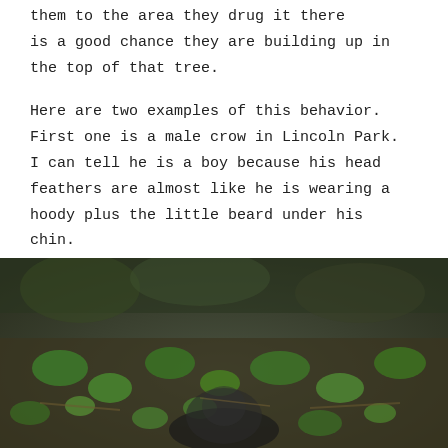them to the area they drug it there is a good chance they are building up in the top of that tree.
Here are two examples of this behavior. First one is a male crow in Lincoln Park. I can tell he is a boy because his head feathers are almost like he is wearing a hoody plus the little beard under his chin.
[Figure (photo): A crow on the ground among green leaves and forest floor debris, photographed from close range with blurred background.]